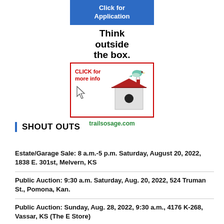[Figure (infographic): Blue button banner reading 'Click for Application' above a birdhouse advertisement with text 'Think outside the box.', 'CLICK for more info', cursor arrow, illustrated birdhouse with bird, and URL 'trailsosage.com']
SHOUT OUTS
Estate/Garage Sale: 8 a.m.-5 p.m. Saturday, August 20, 2022, 1838 E. 301st, Melvern, KS
Public Auction: 9:30 a.m. Saturday, Aug. 20, 2022, 524 Truman St., Pomona, Kan.
Public Auction: Sunday, Aug. 28, 2022, 9:30 a.m., 4176 K-268, Vassar, KS (The E Store)